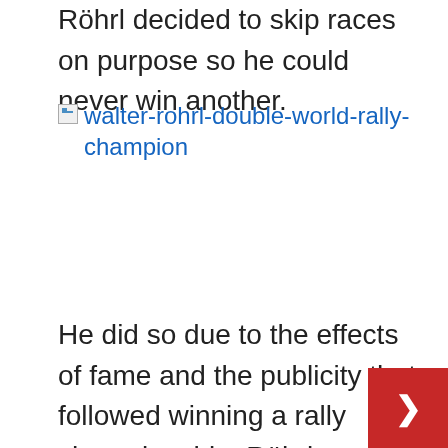Röhrl decided to skip races on purpose so he could never win another.
[Figure (photo): Broken image placeholder with alt text 'walter-rohrl-double-world-rally-champion']
He did so due to the effects of fame and the publicity that followed winning a rally championship. Röhrl made it clear to the team when he signed on as a driver that he would choose